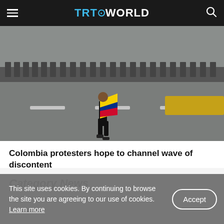TRT WORLD
[Figure (photo): Person carrying a Colombian flag (yellow, blue, red) walking along a road with riot police lined up in the background]
Colombia protesters hope to channel wave of discontent
Category News
This site uses cookies. By continuing to browse the site you are agreeing to our use of cookies. Learn more